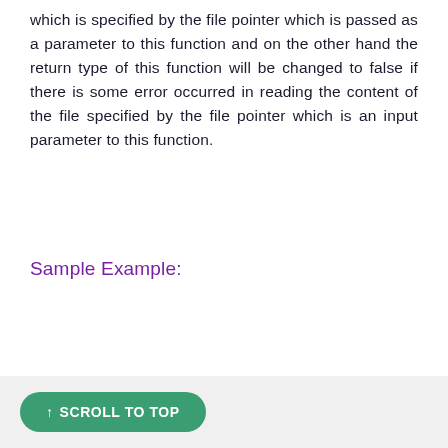which is specified by the file pointer which is passed as a parameter to this function and on the other hand the return type of this function will be changed to false if there is some error occurred in reading the content of the file specified by the file pointer which is an input parameter to this function.
Sample Example:
↑ SCROLL TO TOP